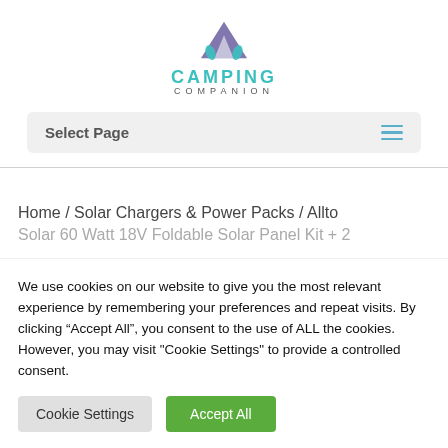[Figure (logo): Camping Companion logo - tent icon above the words CAMPING COMPANION]
Select Page
Home / Solar Chargers & Power Packs / Allto
Solar 60 Watt 18V Foldable Solar Panel Kit + 2
We use cookies on our website to give you the most relevant experience by remembering your preferences and repeat visits. By clicking "Accept All", you consent to the use of ALL the cookies. However, you may visit "Cookie Settings" to provide a controlled consent.